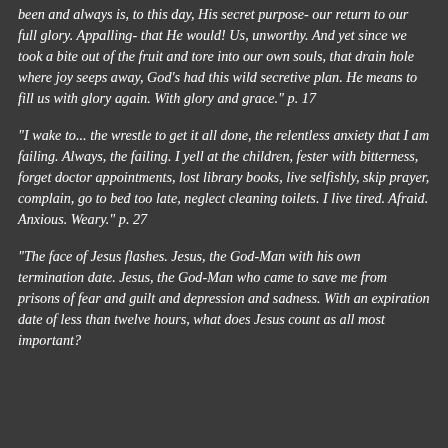been and always is, to this day, His secret purpose- our return to our full glory. Appalling- that He would! Us, unworthy. And yet since we took a bite out of the fruit and tore into our own souls, that drain hole where joy seeps away, God's had this wild secretive plan. He means to fill us with glory again. With glory and grace." p. 17
"I wake to... the wrestle to get it all done, the relentless anxiety that I am failing. Always, the failing. I yell at the children, fester with bitterness, forget doctor appointments, lost library books, live selfishly, skip prayer, complain, go to bed too late, neglect cleaning toilets. I live tired. Afraid. Anxious. Weary." p. 27
"The face of Jesus flashes. Jesus, the God-Man with his own termination date. Jesus, the God-Man who came to save me from prisons of fear and guilt and depression and sadness. With an expiration date of less than twelve hours, what does Jesus count as all most important?